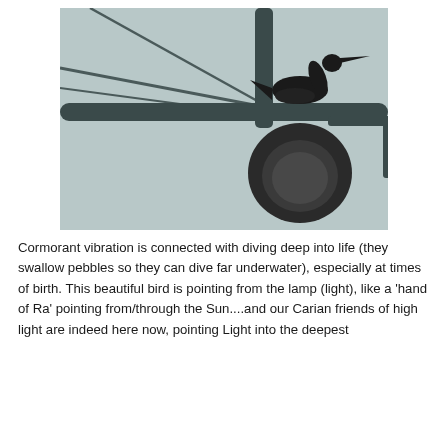[Figure (photo): A black silhouette of a cormorant bird perched on a street lamp arm against a pale grey-blue overcast sky. The large circular lamp head hangs down, and the bird stands on the horizontal pole with its long neck and beak visible.]
Cormorant vibration is connected with diving deep into life (they swallow pebbles so they can dive far underwater), especially at times of birth. This beautiful bird is pointing from the lamp (light), like a 'hand of Ra' pointing from/through the Sun....and our Carian friends of high light are indeed here now, pointing Light into the deepest